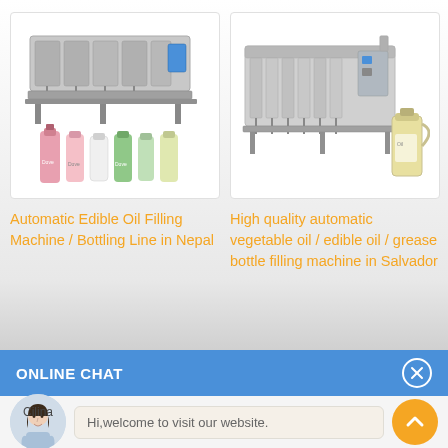[Figure (photo): Industrial filling machine (automatic edible oil filling/bottling line) with soap/shampoo bottles in foreground]
[Figure (photo): High quality automatic vegetable/edible oil/grease bottle filling machine with large jug]
Automatic Edible Oil Filling Machine / Bottling Line in Nepal
High quality automatic vegetable oil / edible oil / grease bottle filling machine in Salvador
ONLINE CHAT
[Figure (photo): Chat agent avatar photo of Cilina, a young woman in business attire]
Hi,welcome to visit our website.
Cilina